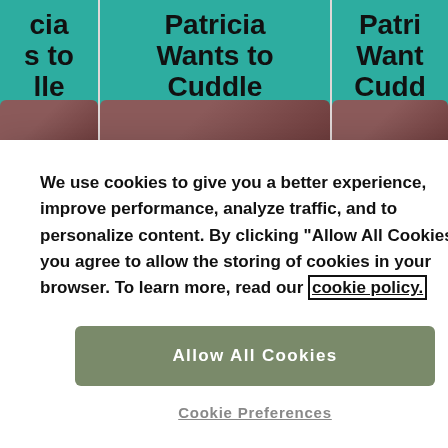[Figure (photo): Three book covers of 'Patricia Wants to Cuddle' displayed side by side with teal/green background and bold black text, partially cropped]
We use cookies to give you a better experience, improve performance, analyze traffic, and to personalize content. By clicking "Allow All Cookies," you agree to allow the storing of cookies in your browser. To learn more, read our cookie policy.
Allow All Cookies
Cookie Preferences
Pick A Card Tarot: Journaling Prompts &